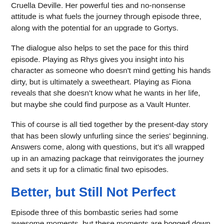Cruella Deville. Her powerful ties and no-nonsense attitude is what fuels the journey through episode three, along with the potential for an upgrade to Gortys.
The dialogue also helps to set the pace for this third episode. Playing as Rhys gives you insight into his character as someone who doesn't mind getting his hands dirty, but is ultimately a sweetheart. Playing as Fiona reveals that she doesn't know what he wants in her life, but maybe she could find purpose as a Vault Hunter.
This of course is all tied together by the present-day story that has been slowly unfurling since the series' beginning. Answers come, along with questions, but it's all wrapped up in an amazing package that reinvigorates the journey and sets it up for a climatic final two episodes.
Better, but Still Not Perfect
Episode three of this bombastic series had some awesome moments, but these moments are bogged down at times